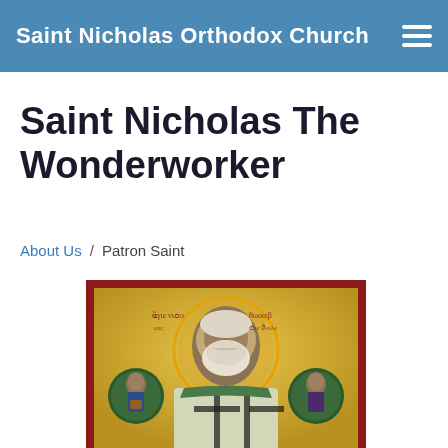Saint Nicholas Orthodox Church
Saint Nicholas The Wonderworker
About Us / Patron Saint
[Figure (illustration): Orthodox icon of Saint Nicholas the Wonderworker, depicted in traditional Byzantine style wearing bishop vestments with crosses, a golden halo, flanked by two smaller circular medallion images of saints, with Greek/Church Slavonic text inscriptions on the golden background.]